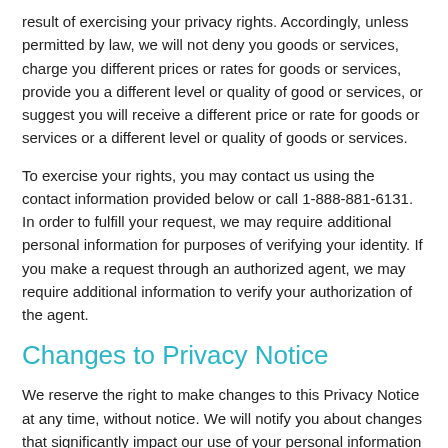result of exercising your privacy rights. Accordingly, unless permitted by law, we will not deny you goods or services, charge you different prices or rates for goods or services, provide you a different level or quality of good or services, or suggest you will receive a different price or rate for goods or services or a different level or quality of goods or services.
To exercise your rights, you may contact us using the contact information provided below or call 1-888-881-6131. In order to fulfill your request, we may require additional personal information for purposes of verifying your identity. If you make a request through an authorized agent, we may require additional information to verify your authorization of the agent.
Changes to Privacy Notice
We reserve the right to make changes to this Privacy Notice at any time, without notice. We will notify you about changes that significantly impact our use of your personal information by placing a prominent notice on this website or by sending you an email. Please revisit this page periodically to stay aware of any changes to this Privacy Notice. For the avoidance of doubt, disputes arising